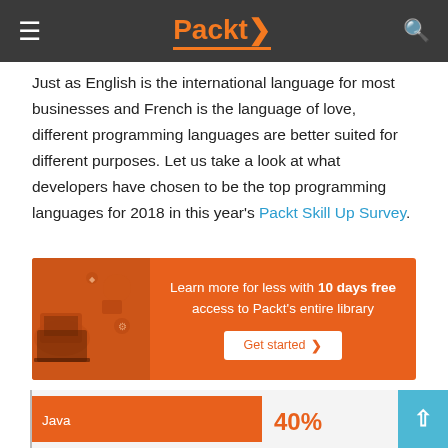Packt
Just as English is the international language for most businesses and French is the language of love, different programming languages are better suited for different purposes. Let us take a look at what developers have chosen to be the top programming languages for 2018 in this year's Packt Skill Up Survey.
[Figure (illustration): Orange promotional banner: 'Learn more for less with 10 days free access to Packt's entire library' with a Get started button and tech illustration on the left]
[Figure (bar-chart): Top programming languages 2018]